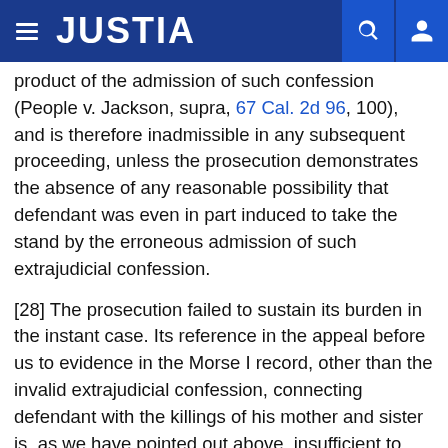JUSTIA
product of the admission of such confession (People v. Jackson, supra, 67 Cal. 2d 96, 100), and is therefore inadmissible in any subsequent proceeding, unless the prosecution demonstrates the absence of any reasonable possibility that defendant was even in part induced to take the stand by the erroneous admission of such extrajudicial confession.
[28] The prosecution failed to sustain its burden in the instant case. Its reference in the appeal before us to evidence in the Morse I record, other than the invalid extrajudicial confession, connecting defendant with the killings of his mother and sister is, as we have pointed out above, insufficient to dispel the reasonable possibility that defendant was at least in part impelled to take the stand in order to diminish the "bombshell" effect of that erroneously admitted confession. [70 Cal. 2d 749] It is apparent, for example, that a substantial